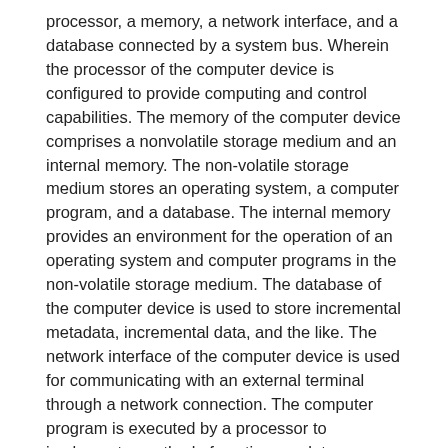processor, a memory, a network interface, and a database connected by a system bus. Wherein the processor of the computer device is configured to provide computing and control capabilities. The memory of the computer device comprises a nonvolatile storage medium and an internal memory. The non-volatile storage medium stores an operating system, a computer program, and a database. The internal memory provides an environment for the operation of an operating system and computer programs in the non-volatile storage medium. The database of the computer device is used to store incremental metadata, incremental data, and the like. The network interface of the computer device is used for communicating with an external terminal through a network connection. The computer program is executed by a processor to implement a method of continuous data protection without local caching.
Those skilled in the art will appreciate that the architecture shown in fig. 14 is merely a block diagram of some of the structures associated with the disclosed aspects and is not intended to limit the computing devices to which the disclosed aspects apply, as particular computing devices